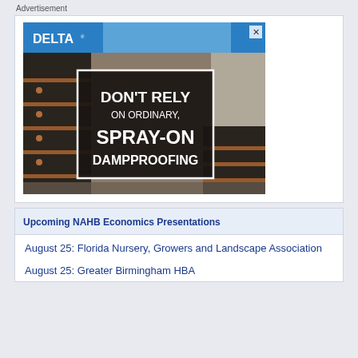Advertisement
[Figure (photo): Delta/Dorken advertisement showing foundation waterproofing membrane with text: DON'T RELY ON ORDINARY, SPRAY-ON DAMPPROOFING]
Upcoming NAHB Economics Presentations
August 25: Florida Nursery, Growers and Landscape Association
August 25: Greater Birmingham HBA